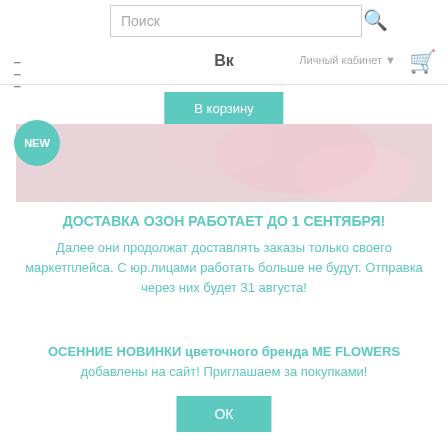Поиск
ВКонтакте | Личный кабинет | корзина
В корзину
[Figure (photo): Flower background image with NEW badge]
ДОСТАВКА ОЗОН РАБОТАЕТ ДО 1 СЕНТЯБРЯ!
Далее они продолжат доставлять заказы только своего маркетплейса. С юр.лицами работать больше не будут. Отправка через них будет 31 августа!
ОСЕННИЕ НОВИНКИ цветочного бренда ME FLOWERS добавлены на сайт! Приглашаем за покупками!
ОК